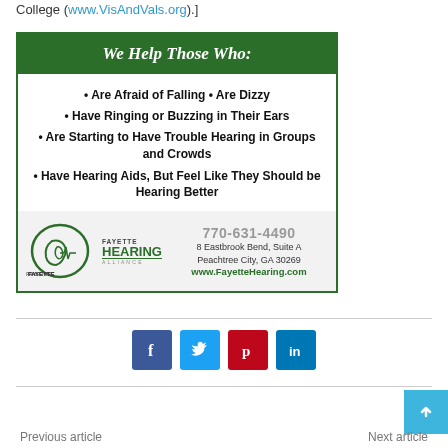College (www.VisAndVals.org).]
[Figure (infographic): Fayette Hearing advertisement: 'We Help Those Who:' with bullet points listing hearing-related conditions, contact info 770-631-4490, 8 Eastbrook Bend Suite A, Peachtree City GA 30269, www.FayetteHearing.com]
[Figure (infographic): Social media share buttons: Facebook (blue), Twitter (light blue), Pinterest (red), LinkedIn (dark blue)]
Previous article    Next article